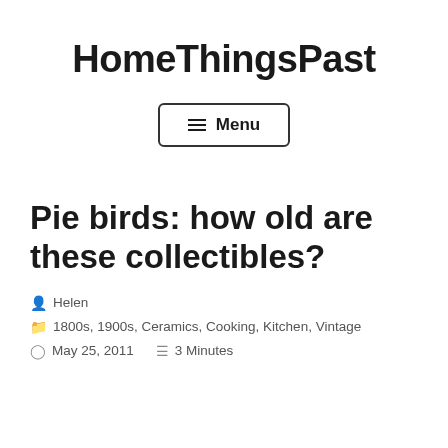HomeThingsPast
[Figure (other): Menu button with hamburger icon and text 'Menu']
Pie birds: how old are these collectibles?
Helen
1800s, 1900s, Ceramics, Cooking, Kitchen, Vintage
May 25, 2011   3 Minutes